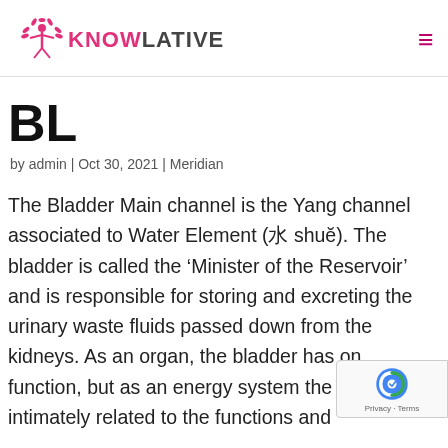KNOWLATIVE
BL
by admin | Oct 30, 2021 | Meridian
The Bladder Main channel is the Yang channel associated to Water Element (水 shuǐ). The bladder is called the 'Minister of the Reservoir' and is responsible for storing and excreting the urinary waste fluids passed down from the kidneys. As an organ, the bladder has one function, but as an energy system the bladder is intimately related to the functions and